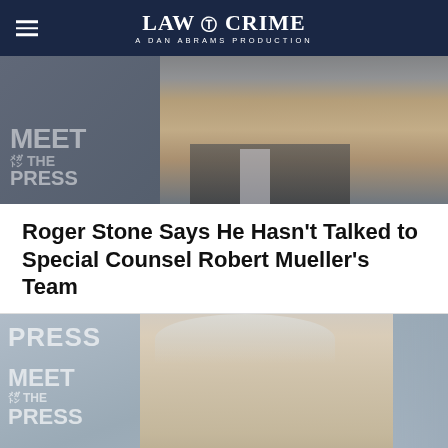LAW & CRIME — A DAN ABRAMS PRODUCTION
[Figure (photo): Man in suit appearing on Meet the Press TV program, upper portion of face visible]
Roger Stone Says He Hasn't Talked to Special Counsel Robert Mueller's Team
[Figure (photo): Roger Stone, older man with white/gray hair in suit, appearing on Meet the Press TV program]